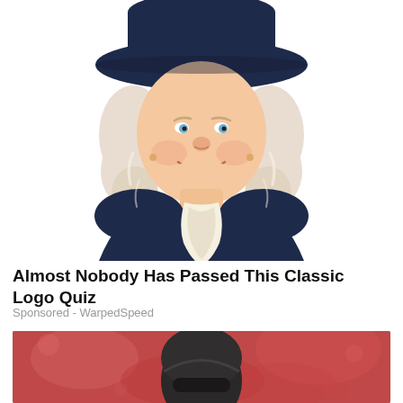[Figure (illustration): Illustrated Quaker Oats man mascot: a smiling older man with white curly hair, wearing a dark navy colonial-style coat with a white cravat and a broad-brimmed dark navy hat, on a white background.]
Almost Nobody Has Passed This Classic Logo Quiz
Sponsored - WarpedSpeed
[Figure (photo): Partially visible photo of a person wearing a dark helmet and sunglasses, with a blurred red/pink background (appears to be a sports or crowd setting).]